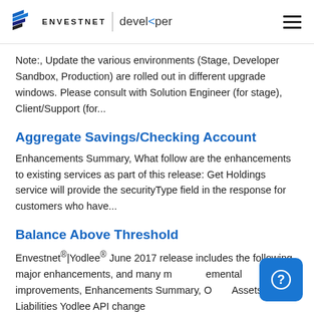ENVESTNET | developer
Note:, Update the various environments (Stage, Developer Sandbox, Production) are rolled out in different upgrade windows. Please consult with Solution Engineer (for stage), Client/Support (for...
Aggregate Savings/Checking Account
Enhancements Summary, What follow are the enhancements to existing services as part of this release: Get Holdings service will provide the securityType field in the response for customers who have...
Balance Above Threshold
Envestnet®|Yodlee® June 2017 release includes the following major enhancements, and many more incremental improvements, Enhancements Summary, Other Assets/Other Liabilities Yodlee API changes...